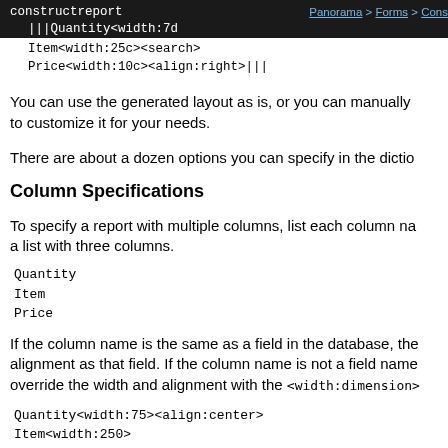constructreport   |||Quantity<width:7d...   Item<width:25c><search>   Price<width:10c><align:right>|||    Panorama > Forms > Cons...
You can use the generated layout as is, or you can manually to customize it for your needs.
There are about a dozen options you can specify in the dictio...
Column Specifications
To specify a report with multiple columns, list each column na... a list with three columns.
Quantity
Item
Price
If the column name is the same as a field in the database, the alignment as that field. If the column name is not a field name override the width and alignment with the <width:dimension>...
Quantity<width:75><align:center>
Item<width:250>
Price<width:100><align:right>